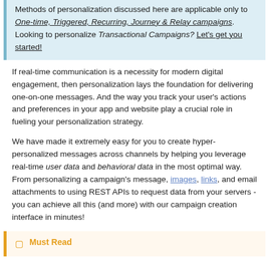Methods of personalization discussed here are applicable only to One-time, Triggered, Recurring, Journey & Relay campaigns. Looking to personalize Transactional Campaigns? Let's get you started!
If real-time communication is a necessity for modern digital engagement, then personalization lays the foundation for delivering one-on-one messages. And the way you track your user's actions and preferences in your app and website play a crucial role in fueling your personalization strategy.
We have made it extremely easy for you to create hyper-personalized messages across channels by helping you leverage real-time user data and behavioral data in the most optimal way. From personalizing a campaign's message, images, links, and email attachments to using REST APIs to request data from your servers - you can achieve all this (and more) with our campaign creation interface in minutes!
Must Read